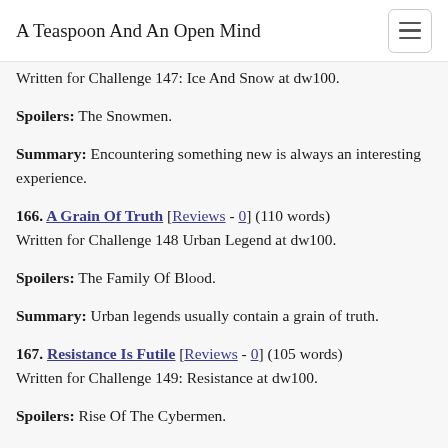A Teaspoon And An Open Mind
Written for Challenge 147: Ice And Snow at dw100.
Spoilers: The Snowmen.
Summary: Encountering something new is always an interesting experience.
166. A Grain Of Truth [Reviews - 0] (110 words)
Written for Challenge 148 Urban Legend at dw100.
Spoilers: The Family Of Blood.
Summary: Urban legends usually contain a grain of truth.
167. Resistance Is Futile [Reviews - 0] (105 words)
Written for Challenge 149: Resistance at dw100.
Spoilers: Rise Of The Cybermen.